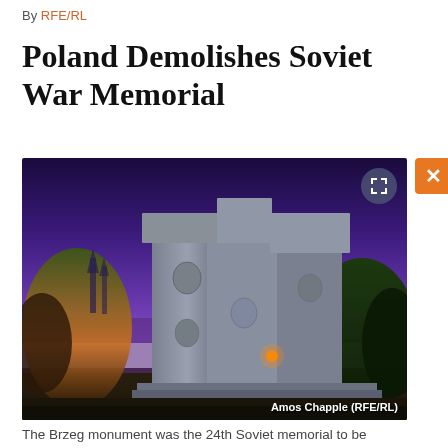By RFE/RL
Poland Demolishes Soviet War Memorial
[Figure (photo): Large Soviet-era stone war memorial with sculptural reliefs of faces, photographed at dusk with blue-purple sky, illuminated trees in foreground, church spires visible in background. Credit: Amos Chapple (RFE/RL)]
The Brzeg monument was the 24th Soviet memorial to be demolished since March
Poland has begun demolishing a Soviet-era